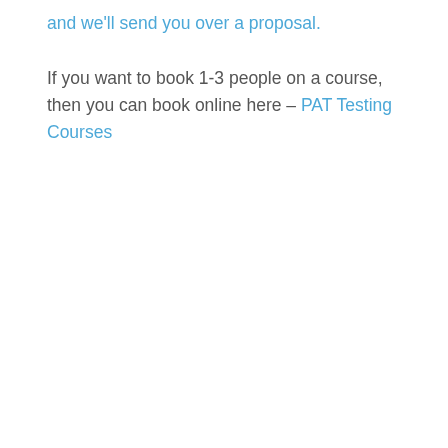and we'll send you over a proposal.
If you want to book 1-3 people on a course, then you can book online here – PAT Testing Courses